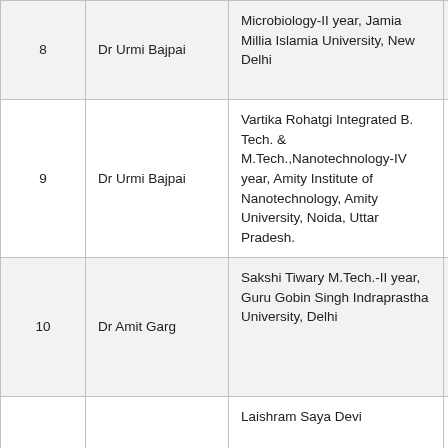| # | Supervisor | Student / Program | Details |
| --- | --- | --- | --- |
| 8 | Dr Urmi Bajpai | Microbiology-II year, Jamia Millia Islamia University, New Delhi | Myc... from... (Jan... Apri... |
| 9 | Dr Urmi Bajpai | Vartika Rohatgi Integrated B. Tech. & M.Tech.,Nanotechnology-IV year, Amity Institute of Nanotechnology, Amity University, Noida, Uttar Pradesh. | Phys... Cha... Puri... (Feb... to Ju... |
| 10 | Dr Amit Garg | Sakshi Tiwary M.Tech.-II year, Guru Gobin Singh Indraprastha University, Delhi | Stuc... Phot... prop... Grap... (Jan... 2020... |
|  |  | Laishram Saya Devi | Adso... of O... Bina... |